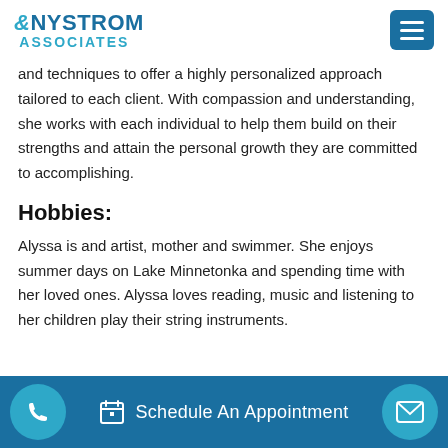Nystrom & Associates
and techniques to offer a highly personalized approach tailored to each client. With compassion and understanding, she works with each individual to help them build on their strengths and attain the personal growth they are committed to accomplishing.
Hobbies:
Alyssa is and artist, mother and swimmer. She enjoys summer days on Lake Minnetonka and spending time with her loved ones. Alyssa loves reading, music and listening to her children play their string instruments.
Schedule An Appointment